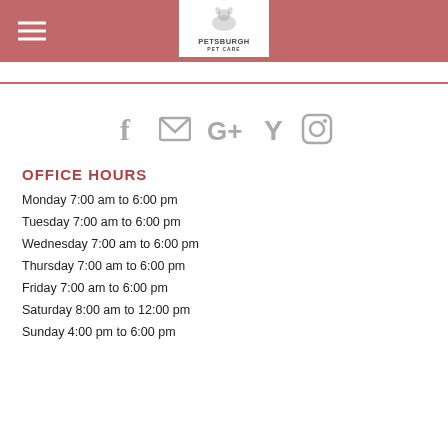Petsburgh Pet Care
[Figure (logo): Petsburgh Pet Care logo with dog illustration, white background, centered in reddish header bar]
[Figure (infographic): Social media icons row: Facebook, Email/Mail, Google+, Yelp (Y), Instagram]
OFFICE HOURS
Monday 7:00 am to 6:00 pm
Tuesday 7:00 am to 6:00 pm
Wednesday 7:00 am to 6:00 pm
Thursday 7:00 am to 6:00 pm
Friday 7:00 am to 6:00 pm
Saturday 8:00 am to 12:00 pm
Sunday 4:00 pm to 6:00 pm